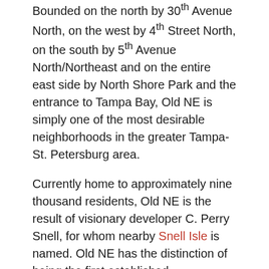Bounded on the north by 30th Avenue North, on the west by 4th Street North, on the south by 5th Avenue North/Northeast and on the entire east side by North Shore Park and the entrance to Tampa Bay, Old NE is simply one of the most desirable neighborhoods in the greater Tampa-St. Petersburg area.
Currently home to approximately nine thousand residents, Old NE is the result of visionary developer C. Perry Snell, for whom nearby Snell Isle is named. Old NE has the distinction of being the first established neighborhood in the City of St. Petersburg.
History of Old Northeast
Home construction began in 1911 and hit “build-out” by the late 50’s. Building slowed dramatically in the late 1920’s and 1930’s due to the Great Depression, and the